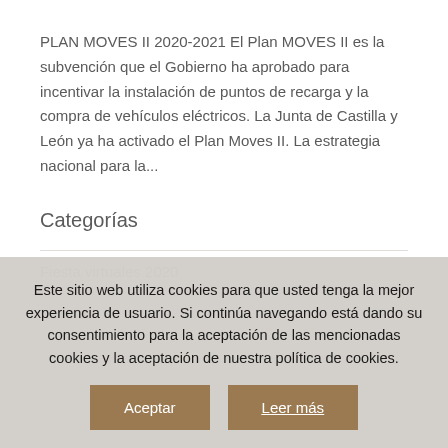PLAN MOVES II 2020-2021 El Plan MOVES II es la subvención que el Gobierno ha aprobado para incentivar la instalación de puntos de recarga y la compra de vehículos eléctricos. La Junta de Castilla y León ya ha activado el Plan Moves II. La estrategia nacional para la...
Categorías
Fiesta virtuales 2020
Noticias
Este sitio web utiliza cookies para que usted tenga la mejor experiencia de usuario. Si continúa navegando está dando su consentimiento para la aceptación de las mencionadas cookies y la aceptación de nuestra política de cookies.